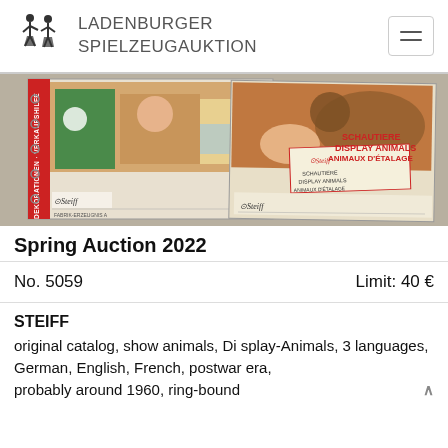LADENBURGER SPIELZEUGAUKTION
[Figure (photo): Photo of Steiff catalogs showing show animals / display animals, with text 'SCHAUTIERE DISPLAY ANIMALS ANIMAUX D'ÉTALAGE' and Steiff logo branding, ring-bound binder pages spread open.]
Spring Auction 2022
No. 5059    Limit: 40 €
STEIFF
original catalog, show animals, Di splay-Animals, 3 languages, German, English, French, postwar era, probably around 1960, ring-bound